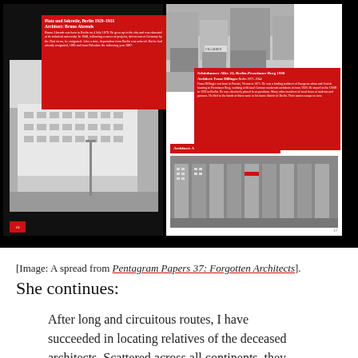[Figure (illustration): A spread from Pentagram Papers 37: Forgotten Architects, showing two black pages with architectural photographs and red information cards overlaid. Left page shows a modernist white building. Right page shows a street-level photo and an aerial view of residential blocks.]
[Image: A spread from Pentagram Papers 37: Forgotten Architects].
She continues:
After long and circuitous routes, I have succeeded in locating relatives of the deceased architects. Scattered across all continents, they